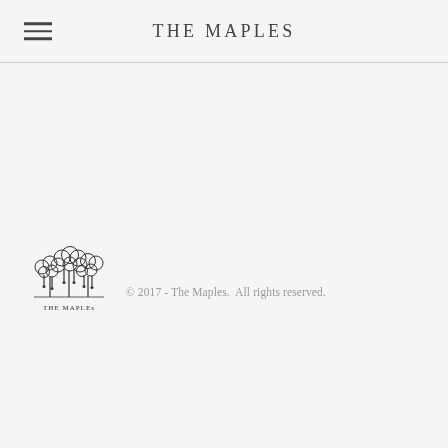THE MAPLES
[Figure (logo): The Maples logo: stylized trees with hanging lights and text 'THE MAPLES' at bottom]
© 2017 - The Maples.  All rights reserved.